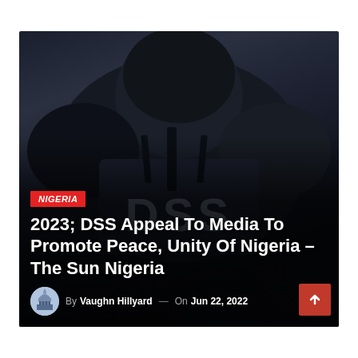[Figure (photo): Close-up photo of a person wearing black tactical gear / vest with 'DSS' text on it, dark background]
NIGERIA
2023; DSS Appeal To Media To Promote Peace, Unity Of Nigeria – The Sun Nigeria
By Vaughn Hillyard — On Jun 22, 2022